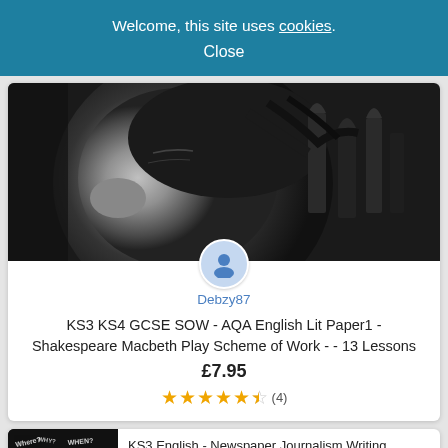Welcome, this site uses cookies.
Close
[Figure (photo): Black and white dramatic photo of a man looking upward, with ornate cathedral-like architectural illustrations overlaid on the side of his head — Macbeth themed imagery]
Debzy87
KS3 KS4 GCSE SOW - AQA English Lit Paper1 - Shakespeare Macbeth Play Scheme of Work - - 13 Lessons
£7.95
★★★★½ (4)
[Figure (photo): Dark background with white journalism question words (Who, What, Where, When, Why, How) scattered across the image]
KS3 English - Newspaper Journalism Writing Scheme of Work - Writing to Inform
Debzy87